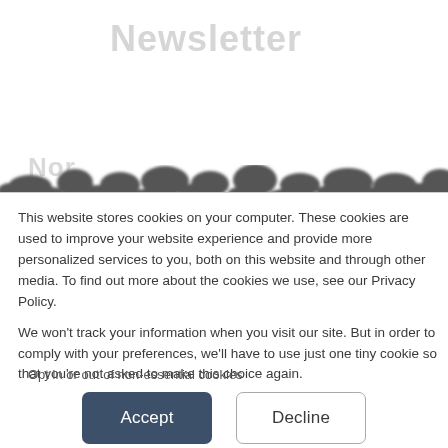Newsletter
[Figure (photo): Blurry landscape/treeline silhouette band across the upper portion of the page, partially obscured background image of outdoors scene]
This website stores cookies on your computer. These cookies are used to improve your website experience and provide more personalized services to you, both on this website and through other media. To find out more about the cookies we use, see our Privacy Policy.

We won't track your information when you visit our site. But in order to comply with your preferences, we'll have to use just one tiny cookie so that you're not asked to make this choice again.
Opt in or out of non-essential cookies
Accept
Decline